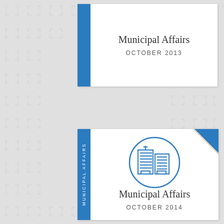Municipal Affairs
OCTOBER 2013
[Figure (illustration): Cover page of Municipal Affairs October 2014 with blue sidebar, folded corner, and building icon in circle]
Municipal Affairs
OCTOBER 2014